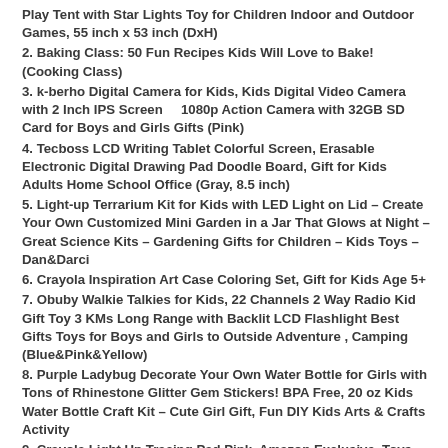Play Tent with Star Lights Toy for Children Indoor and Outdoor Games, 55 inch x 53 inch (DxH)
2. Baking Class: 50 Fun Recipes Kids Will Love to Bake! (Cooking Class)
3. k-berho Digital Camera for Kids, Kids Digital Video Camera with 2 Inch IPS Screen    1080p Action Camera with 32GB SD Card for Boys and Girls Gifts (Pink)
4. Tecboss LCD Writing Tablet Colorful Screen, Erasable Electronic Digital Drawing Pad Doodle Board, Gift for Kids Adults Home School Office (Gray, 8.5 inch)
5. Light-up Terrarium Kit for Kids with LED Light on Lid – Create Your Own Customized Mini Garden in a Jar That Glows at Night – Great Science Kits – Gardening Gifts for Children – Kids Toys – Dan&Darci
6. Crayola Inspiration Art Case Coloring Set, Gift for Kids Age 5+
7. Obuby Walkie Talkies for Kids, 22 Channels 2 Way Radio Kid Gift Toy 3 KMs Long Range with Backlit LCD Flashlight Best Gifts Toys for Boys and Girls to Outside Adventure , Camping (Blue&Pink&Yellow)
8. Purple Ladybug Decorate Your Own Water Bottle for Girls with Tons of Rhinestone Glitter Gem Stickers! BPA Free, 20 oz Kids Water Bottle Craft Kit – Cute Girl Gift, Fun DIY Kids Arts & Crafts Activity
9. Crayola Light Up Tracing Pad Pink, Amazon Exclusive, Toys,